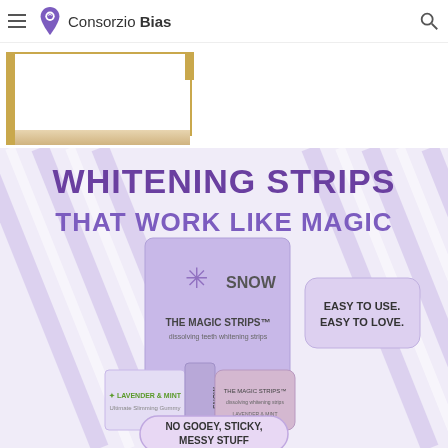Consorzio Bias
Custom
[Figure (photo): Snow brand whitening strips product advertisement showing purple packaging with 'WHITENING STRIPS THAT WORK LIKE MAGIC' headline, product box labeled 'THE MAGIC STRIPS - dissolving teeth whitening strips', individual strip packets (LAVENDER & MINT), and callout badges saying 'EASY TO USE. EASY TO LOVE.' and 'NO GOOEY, STICKY, MESSY STUFF'. Diagonal purple and white stripe background.]